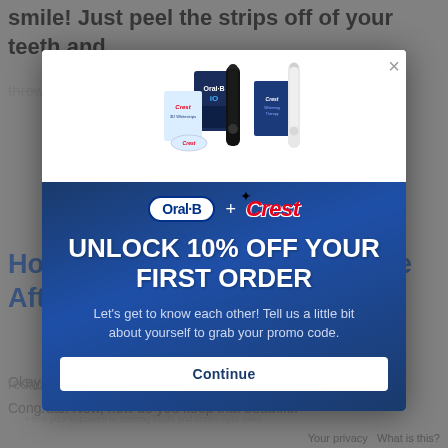smile! Just peel the strips off of your teeth and
throw the strips away.
How to Keep Your Teeth White After Whitening
Okay, so you
Congrats! Now, how do you keep that beautiful
reduce plastic waste.
Your privacy   What is this?
[Figure (infographic): Modal popup advertisement for Oral-B and Crest featuring product images (toothbrushes, whitening strips) in top white section, and a blue gradient bottom with Oral-B + Crest logos, headline UNLOCK 10% OFF YOUR FIRST ORDER, subtext about getting a promo code, and a Continue button. X close button in top right.]